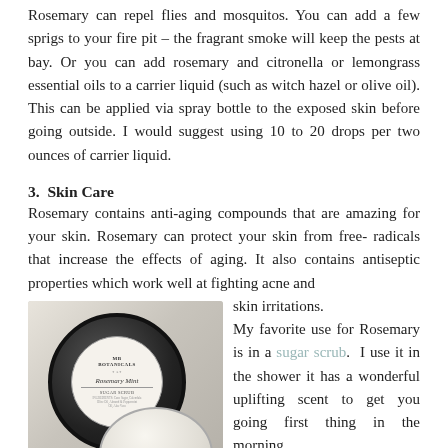Rosemary can repel flies and mosquitos. You can add a few sprigs to your fire pit – the fragrant smoke will keep the pests at bay. Or you can add rosemary and citronella or lemongrass essential oils to a carrier liquid (such as witch hazel or olive oil). This can be applied via spray bottle to the exposed skin before going outside. I would suggest using 10 to 20 drops per two ounces of carrier liquid.
3.  Skin Care
Rosemary contains anti-aging compounds that are amazing for your skin. Rosemary can protect your skin from free-radicals that increase the effects of aging. It also contains antiseptic properties which work well at fighting acne and skin irritations.
[Figure (photo): Photo of MB Botanicals Rosemary Mint Sugar Scrub product jar with black lid, label visible, next to a bowl of white cream]
My favorite use for Rosemary is in a sugar scrub. I use it in the shower it has a wonderful uplifting scent to get you going first thing in the morning.